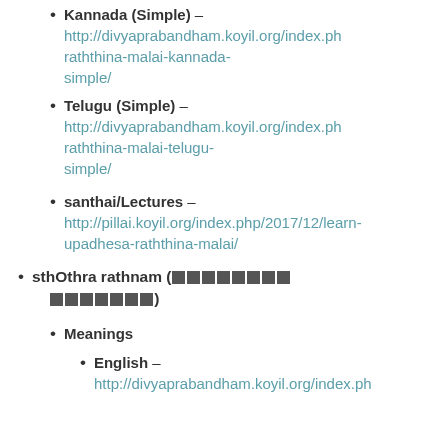Kannada (Simple) – http://divyaprabandham.koyil.org/index.ph raththina-malai-kannada-simple/
Telugu (Simple) – http://divyaprabandham.koyil.org/index.ph raththina-malai-telugu-simple/
santhai/Lectures – http://pillai.koyil.org/index.php/2017/12/learn-upadhesa-raththina-malai/
sthOthra rathnam (🔲🔲🔲🔲🔲🔲🔲🔲🔲🔲🔲🔲🔲🔲🔲)
Meanings
English – http://divyaprabandham.koyil.org/index.ph